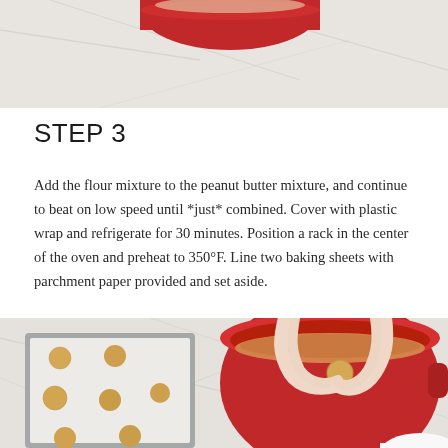[Figure (photo): Top portion of a photo showing a red mixing bowl or container on a marble surface, cropped at top of page]
STEP 3
Add the flour mixture to the peanut butter mixture, and continue to beat on low speed until *just* combined. Cover with plastic wrap and refrigerate for 30 minutes. Position a rack in the center of the oven and preheat to 350°F. Line two baking sheets with parchment paper provided and set aside.
[Figure (photo): Hands rolling a small dough ball in a red bowl filled with a cinnamon-sugar or crumb coating, with a baking sheet showing several coated dough balls on parchment paper to the left, on a marble surface]